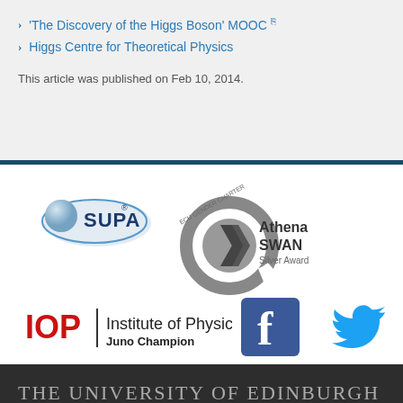'The Discovery of the Higgs Boson' MOOC
Higgs Centre for Theoretical Physics
This article was published on Feb 10, 2014.
[Figure (logo): SUPA logo with blue sphere and oval shape]
[Figure (logo): Athena SWAN ECU Gender Charter Silver Award logo - circular grey design with chevron]
[Figure (logo): IOP Institute of Physics Juno Champion logo]
[Figure (logo): Facebook logo - blue square with white f]
[Figure (logo): Twitter bird logo in blue]
THE UNIVERSITY OF EDINBURGH